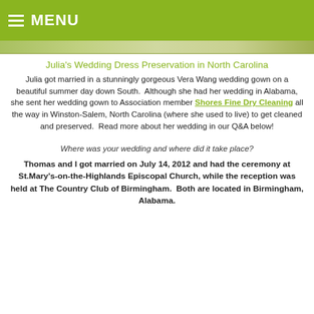MENU
[Figure (photo): Photo strip at top of page showing partial wedding/nature images]
Julia's Wedding Dress Preservation in North Carolina
Julia got married in a stunningly gorgeous Vera Wang wedding gown on a beautiful summer day down South.  Although she had her wedding in Alabama, she sent her wedding gown to Association member Shores Fine Dry Cleaning all the way in Winston-Salem, North Carolina (where she used to live) to get cleaned and preserved.  Read more about her wedding in our Q&A below!
Where was your wedding and where did it take place?
Thomas and I got married on July 14, 2012 and had the ceremony at St.Mary's-on-the-Highlands Episcopal Church, while the reception was held at The Country Club of Birmingham.  Both are located in Birmingham, Alabama.